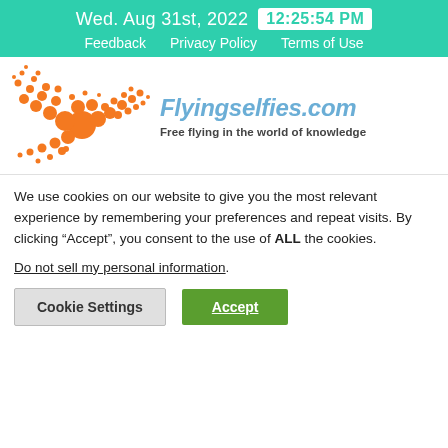Wed. Aug 31st, 2022  12:25:54 PM
Feedback  Privacy Policy  Terms of Use
[Figure (logo): Flyingselfies.com logo: orange bird made of dots/circles, with site name 'Flyingselfies.com' in blue italic and tagline 'Free flying in the world of knowledge']
We use cookies on our website to give you the most relevant experience by remembering your preferences and repeat visits. By clicking “Accept”, you consent to the use of ALL the cookies.
Do not sell my personal information.
Cookie Settings  Accept